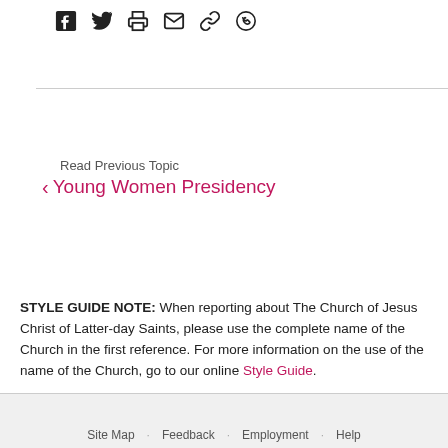[Figure (other): Social sharing icons: Facebook, Twitter, Print, Email, Link, WhatsApp]
Read Previous Topic
< Young Women Presidency
STYLE GUIDE NOTE: When reporting about The Church of Jesus Christ of Latter-day Saints, please use the complete name of the Church in the first reference. For more information on the use of the name of the Church, go to our online Style Guide.
Site Map · Feedback · Employment · Help